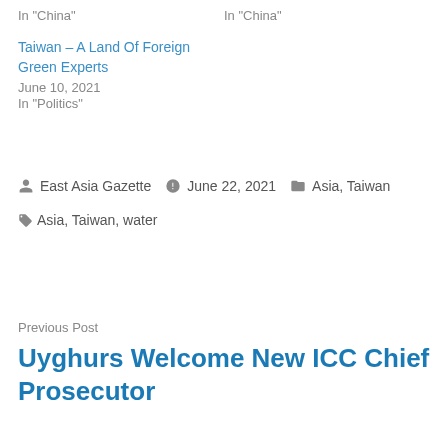In "China"
In "China"
Taiwan – A Land Of Foreign Green Experts
June 10, 2021
In "Politics"
East Asia Gazette   June 22, 2021   Asia, Taiwan
Asia, Taiwan, water
Previous Post
Uyghurs Welcome New ICC Chief Prosecutor